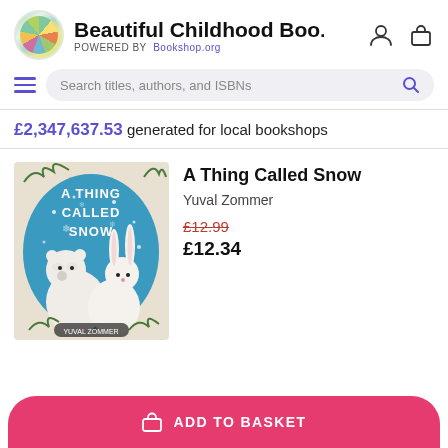Beautiful Childhood Boo. POWERED BY Bookshop.org
Search titles, authors, and ISBNs
£2,347,637.53 generated for local bookshops
[Figure (illustration): Book cover of 'A Thing Called Snow' by Yuval Zommer showing two white animals (arctic hare and polar bear) on a blue snowy background with snowflakes and winter foliage]
A Thing Called Snow
Yuval Zommer
£12.99
£12.34
ADD TO BASKET